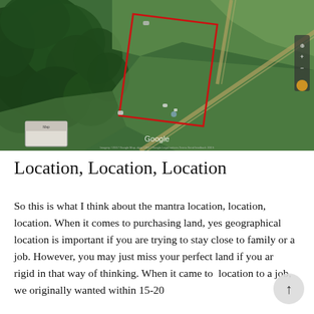[Figure (map): Aerial/satellite Google Maps view of a wooded rural property with a red rectangular boundary outline drawn on the land parcel, surrounded by fields and trees. A road runs diagonally. A small inset map and Google watermark are visible.]
Location, Location, Location
So this is what I think about the mantra location, location, location. When it comes to purchasing land, yes geographical location is important if you are trying to stay close to family or a job. However, you may just miss your perfect land if you are rigid in that way of thinking. When it came to location to a job, we originally wanted within 15-20